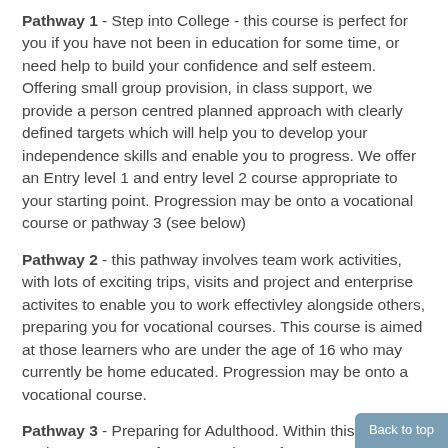Pathway 1 - Step into College - this course is perfect for you if you have not been in education for some time, or need help to build your confidence and self esteem.  Offering small group provision, in class support, we provide a person centred planned approach with clearly defined targets which will help you to develop your independence skills and enable you to progress. We offer an Entry level 1 and entry level 2 course appropriate to your starting point. Progression may be onto a vocational course or pathway 3 (see below)
Pathway 2 - this pathway involves team work activities, with lots of exciting trips, visits and project and enterprise activites to enable you to work effectivley alongside others, preparing you for vocational courses.  This course is aimed at those learners who are under the age of 16 who may currently be home educated. Progression may be onto a vocational course.
Pathway 3 - Preparing for Adulthood.  Within this pathway we have 2 courses for you to choose from:
The first course, Preparation for Adulthood helps you to develop individual skills and to reach the outcomes and